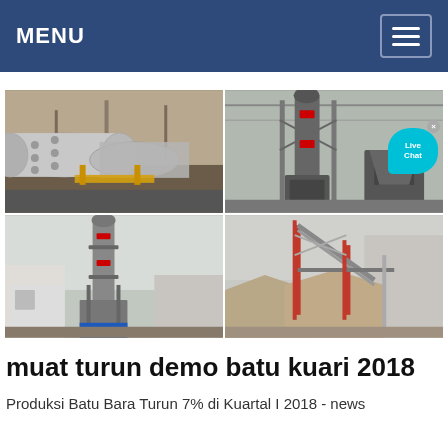MENU
[Figure (photo): Four industrial/mining machinery photos in a 2x2 grid: top-left shows large cylindrical ball mills in a factory, top-right shows a vertical roller mill machine in a industrial shed with a Live Chat bubble overlay, bottom-left shows a vertical grinding tower machine outdoors, bottom-right shows a conveyor/crushing plant with stockpile of aggregate material.]
muat turun demo batu kuari 2018
Produksi Batu Bara Turun 7% di Kuartal I 2018 - news